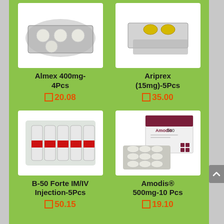[Figure (photo): Blister pack of white tablets - Almex 400mg 4Pcs]
Almex 400mg-4Pcs
□ 20.08
[Figure (photo): Blister pack with yellow tablets - Ariprex (15mg) 5Pcs]
Ariprex (15mg)-5Pcs
□ 35.00
[Figure (photo): Blister pack of injection vials with red bands - B-50 Forte IM/IV Injection 5Pcs]
B-50 Forte IM/IV Injection-5Pcs
□ 50.15
[Figure (photo): Box and blister pack of capsules - Amodis 500mg 10 Pcs]
Amodis® 500mg-10 Pcs
□ 19.10